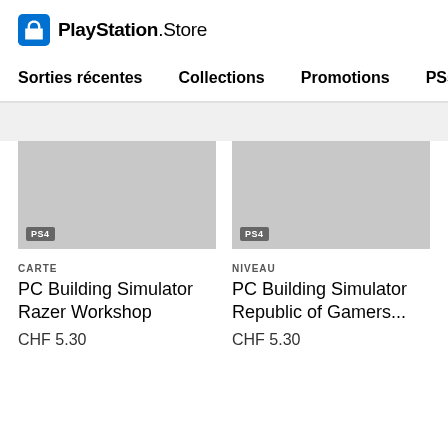PlayStation.Store
Sorties récentes  Collections  Promotions  PS5
[Figure (screenshot): PlayStation Store product listing page showing two PS4 items: PC Building Simulator Razer Workshop at CHF 5.30 and PC Building Simulator Republic of Gamers... at CHF 5.30]
CARTE
PC Building Simulator Razer Workshop
CHF 5.30
NIVEAU
PC Building Simulator Republic of Gamers...
CHF 5.30